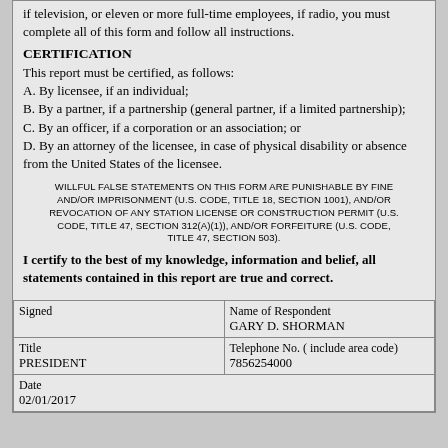if television, or eleven or more full-time employees, if radio, you must complete all of this form and follow all instructions.
CERTIFICATION
This report must be certified, as follows:
A. By licensee, if an individual;
B. By a partner, if a partnership (general partner, if a limited partnership);
C. By an officer, if a corporation or an association; or
D. By an attorney of the licensee, in case of physical disability or absence from the United States of the licensee.
WILLFUL FALSE STATEMENTS ON THIS FORM ARE PUNISHABLE BY FINE AND/OR IMPRISONMENT (U.S. CODE, TITLE 18, SECTION 1001), AND/OR REVOCATION OF ANY STATION LICENSE OR CONSTRUCTION PERMIT (U.S. CODE, TITLE 47, SECTION 312(a)(1)), AND/OR FORFEITURE (U.S. CODE, TITLE 47, SECTION 503).
I certify to the best of my knowledge, information and belief, all statements contained in this report are true and correct.
| Signed | Name of Respondent |
| --- | --- |
|  | GARY D. SHORMAN |
| Title
PRESIDENT | Telephone No. ( include area code)
7856254000 |
| Date
02/01/2017 |  |